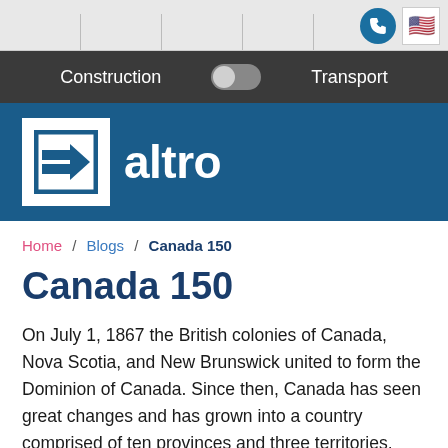Construction | Transport
[Figure (logo): Altro company logo: white square with blue arrow-box symbol, followed by 'altro' text in white on dark blue background]
Home / Blogs / Canada 150
Canada 150
On July 1, 1867 the British colonies of Canada, Nova Scotia, and New Brunswick united to form the Dominion of Canada. Since then, Canada has seen great changes and has grown into a country comprised of ten provinces and three territories.